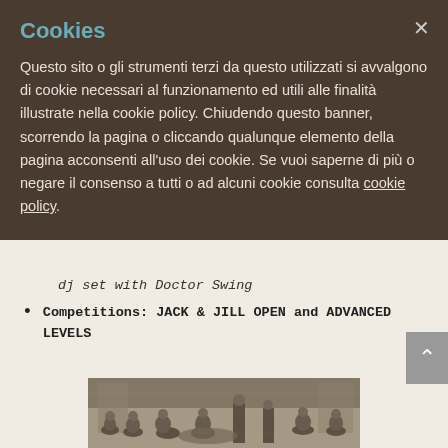Cookies
Questo sito o gli strumenti terzi da questo utilizzati si avvalgono di cookie necessari al funzionamento ed utili alle finalità illustrate nella cookie policy. Chiudendo questo banner, scorrendo la pagina o cliccando qualunque elemento della pagina acconsenti all'uso dei cookie. Se vuoi saperne di più o negare il consenso a tutti o ad alcuni cookie consulta cookie policy.
dj set with Doctor Swing
Competitions: JACK & JILL OPEN and ADVANCED LEVELS
[Figure (photo): Vintage black and white photograph showing a group of people in formal attire at what appears to be a social gathering or party, seated and standing in an ornate room.]